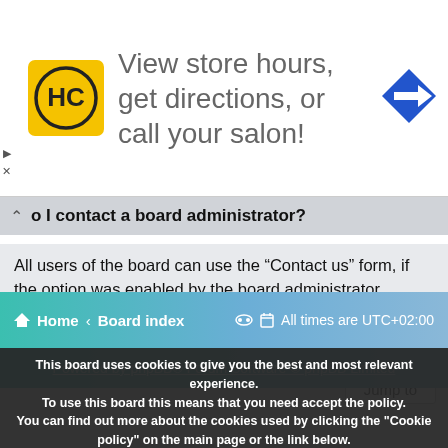[Figure (advertisement): Ad banner: HC salon logo, text 'View store hours, get directions, or call your salon!', blue direction sign arrow icon on right]
o I contact a board administrator?
All users of the board can use the “Contact us” form, if the option was enabled by the board administrator. Members of the board can also use the “The team” link.
Top
Jump to
Home › Board index   All times are UTC+02:00
Powered by phpBB® Forum Software © phpBB Limited
This board uses cookies to give you the best and most relevant experience. To use this board this means that you need accept the policy. You can find out more about the cookies used by clicking the "Cookie policy" on the main page or the link below. [ I accept ]